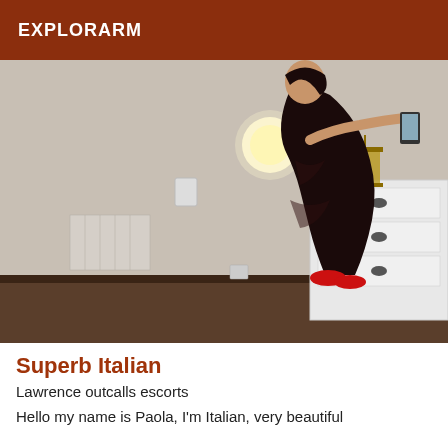EXPLORARM
[Figure (photo): A person wearing a black lace dress and red shoes, standing in a room next to a wall-mounted lamp and a white chest of drawers with a lantern on top, taking a selfie with a phone.]
Superb Italian
Lawrence outcalls escorts
Hello my name is Paola, I'm Italian, very beautiful